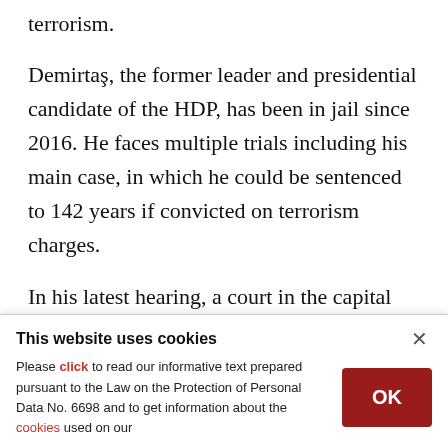terrorism.
Demirtaş, the former leader and presidential candidate of the HDP, has been in jail since 2016. He faces multiple trials including his main case, in which he could be sentenced to 142 years if convicted on terrorism charges.
In his latest hearing, a court in the capital Ankara sentenced Demirtaş to two years and six months for making statements considered threatening against
This website uses cookies
Please click to read our informative text prepared pursuant to the Law on the Protection of Personal Data No. 6698 and to get information about the cookies used on our